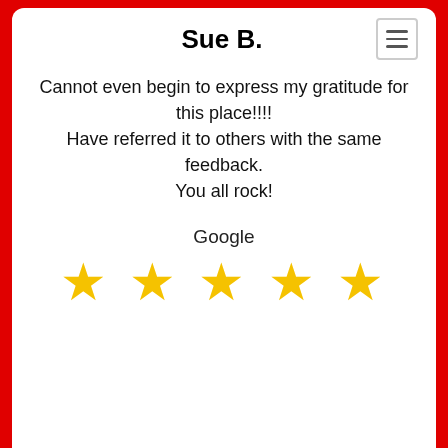Sue B.
Cannot even begin to express my gratitude for this place!!!!
Have referred it to others with the same feedback.
You all rock!
Google
[Figure (infographic): Five gold star rating icons]
[Figure (photo): Circular profile photo of a man with a shaved head and goatee]